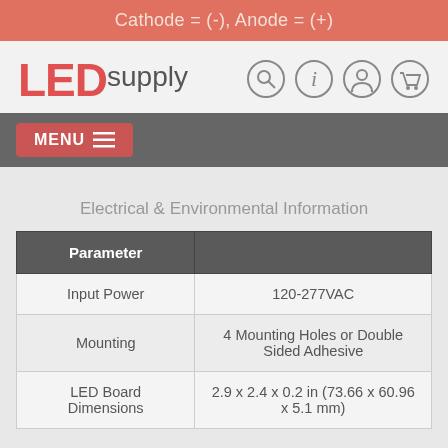Cathode = (-), Anode = (+)
[Figure (logo): LEDsupply logo with red LED text and gray supply text, with navigation icons (search, info, user, cart)]
MENU ≡
Electrical & Environmental Information
| Parameter |  |
| --- | --- |
| Input Power | 120-277VAC |
| Mounting | 4 Mounting Holes or Double Sided Adhesive |
| LED Board Dimensions | 2.9 x 2.4 x 0.2 in (73.66 x 60.96 x 5.1 mm) |